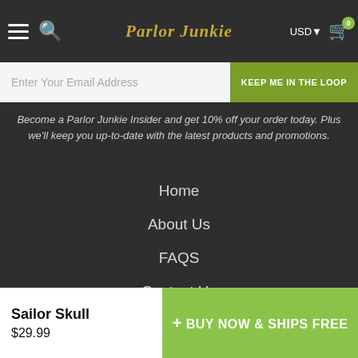Parlor Junkie — USD — Cart (0)
Enter Your Email Address
KEEP ME IN THE LOOP
Become a Parlor Junkie Insider and get 10% off your order today. Plus we'll keep you up-to-date with the latest products and promotions.
Home
About Us
FAQS
Contact Us
Terms
Privacy
Sailor Skull
$29.99
+ BUY NOW & SHIPS FREE